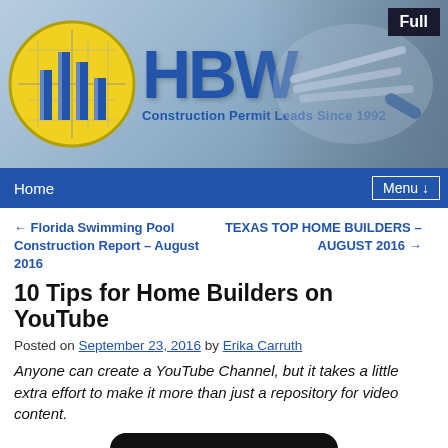[Figure (logo): HBW Construction Permit Leads Since 1992 banner header with logo circle, bold HBW text, and construction tools background. Full badge in top-right corner.]
Home | Menu ↓
← Florida Swimming Pool Construction Report – August 2016
TEXAS TOP HOME BUILDERS – AUGUST 2016 →
10 Tips for Home Builders on YouTube
Posted on September 23, 2016 by Erika Carruth
Anyone can create a YouTube Channel, but it takes a little extra effort to make it more than just a repository for video content.
[Figure (illustration): Tablet device showing a green video screen with a play button, representing a YouTube video thumbnail.]